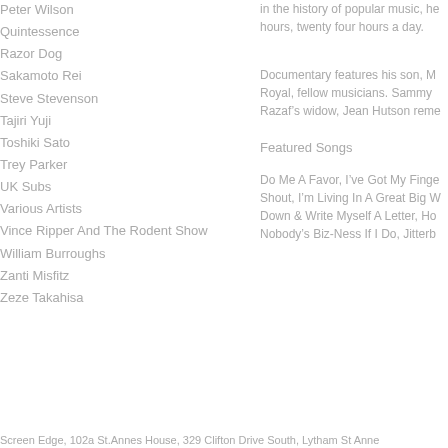Peter Wilson
Quintessence
Razor Dog
Sakamoto Rei
Steve Stevenson
Tajiri Yuji
Toshiki Sato
Trey Parker
UK Subs
Various Artists
Vince Ripper And The Rodent Show
William Burroughs
Zanti Misfitz
Zeze Takahisa
in the history of popular music, he hours, twenty four hours a day.
Documentary features his son, M Royal, fellow musicians. Sammy Razaf’s widow, Jean Hutson reme
Featured Songs
Do Me A Favor, I’ve Got My Finge Shout, I’m Living In A Great Big W Down & Write Myself A Letter, Ho Nobody’s Biz-Ness If I Do, Jitterb
Screen Edge, 102a St.Annes House, 329 Clifton Drive South, Lytham St Anne